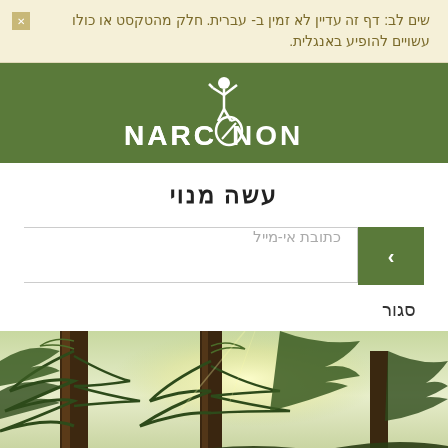שים לב: דף זה עדיין לא זמין ב- עברית. חלק מהטקסט או כולו עשויים להופיע באנגלית.
[Figure (logo): Narconon logo — white figure with arms raised, text NARCONON below, on olive green background]
עשה מנוי
כתובת אי-מייל
סגור
[Figure (photo): Forest photo looking up through pine trees with sunlight filtering through branches]